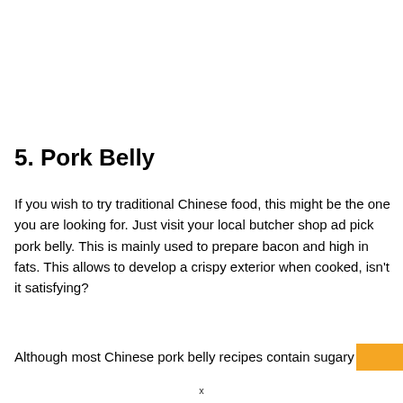5. Pork Belly
If you wish to try traditional Chinese food, this might be the one you are looking for. Just visit your local butcher shop ad pick pork belly. This is mainly used to prepare bacon and high in fats. This allows to develop a crispy exterior when cooked, isn't it satisfying?
Although most Chinese pork belly recipes contain sugary
x